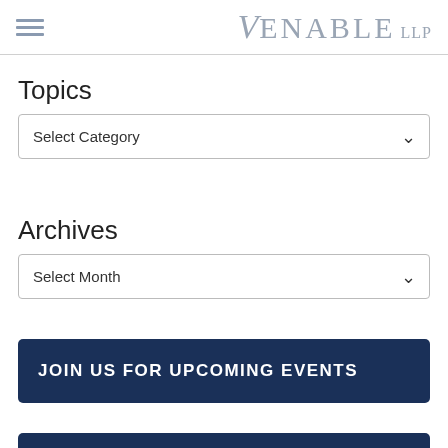Venable LLP
Topics
Select Category
Archives
Select Month
JOIN US FOR UPCOMING EVENTS
VIEW RECORDINGS OF PAST EVENTS